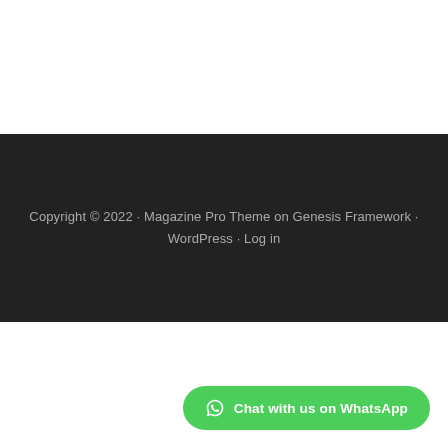Copyright © 2022 · Magazine Pro Theme on Genesis Framework · WordPress · Log in
Chat with us on WhatsApp